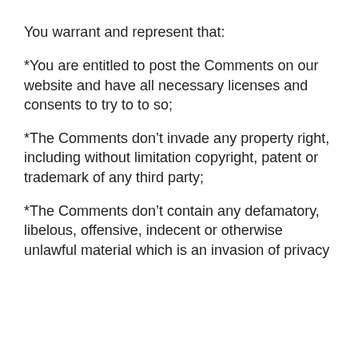You warrant and represent that:
*You are entitled to post the Comments on our website and have all necessary licenses and consents to try to to so;
*The Comments don’t invade any property right, including without limitation copyright, patent or trademark of any third party;
*The Comments don’t contain any defamatory, libelous, offensive, indecent or otherwise unlawful material which is an invasion of privacy